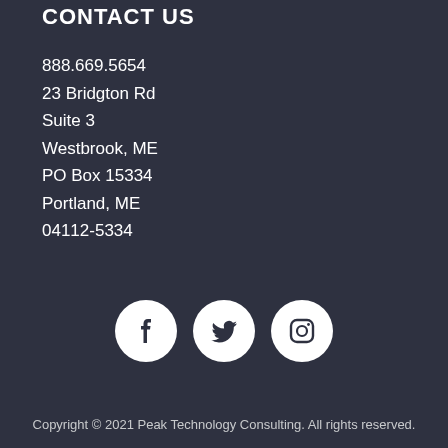CONTACT US
888.669.5654
23 Bridgton Rd
Suite 3
Westbrook, ME
PO Box 15334
Portland, ME
04112-5334
[Figure (illustration): Social media icons: Facebook, Twitter, Instagram — white circles on dark background]
Copyright © 2021 Peak Technology Consulting. All rights reserved.